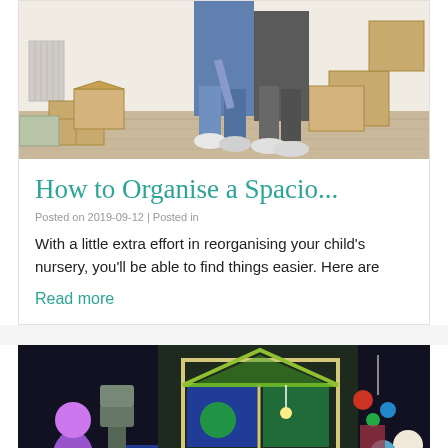[Figure (photo): Two people standing in a room with cardboard moving boxes on a wooden floor]
How to Organise a Spacio...
Posted on 2019-09-12 | Posted in
With a little extra effort in reorganising your child’s nursery, you’ll be able to find things easier. Here are
Read more
[Figure (photo): A colorful wooden dollhouse with toys including dolls, a cat tower, and colorful decorations]